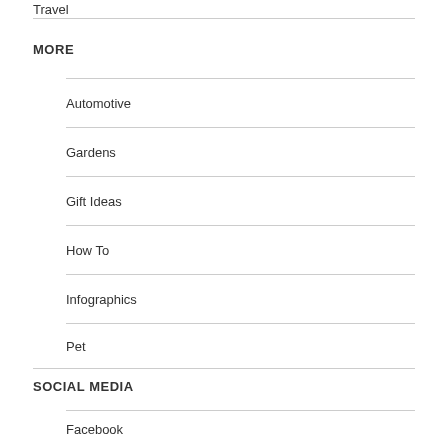Travel
MORE
Automotive
Gardens
Gift Ideas
How To
Infographics
Pet
SOCIAL MEDIA
Facebook
Instagram